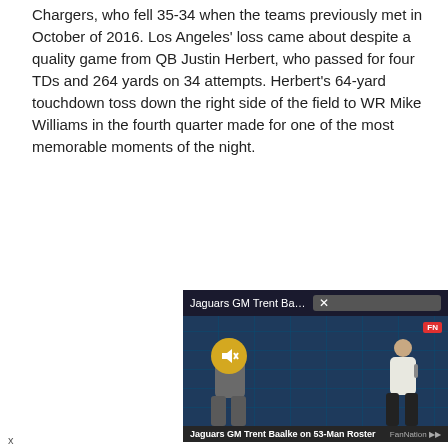Chargers, who fell 35-34 when the teams previously met in October of 2016. Los Angeles' loss came about despite a quality game from QB Justin Herbert, who passed for four TDs and 264 yards on 34 attempts. Herbert's 64-yard touchdown toss down the right side of the field to WR Mike Williams in the fourth quarter made for one of the most memorable moments of the night.
[Figure (screenshot): Embedded video widget showing a Jaguars press conference. Title bar reads 'Jaguars GM Trent Baalke on 53 Man Ros...' with a close button. Two people seated at a press conference table with Jaguars backdrop. A mute button icon is visible. Bottom caption reads 'Jaguars GM Trent Baalke on 53-Man Roster' with FanNation logo.]
x